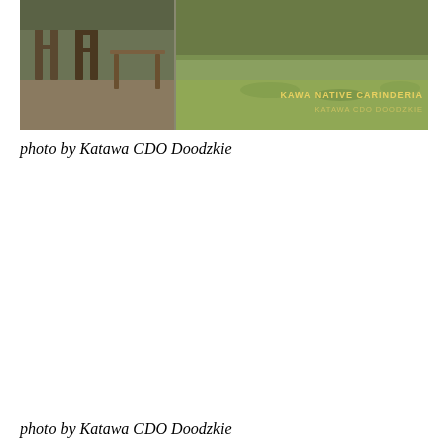[Figure (photo): Photo of Kawa Native Carinderia outdoor area with wooden furniture on the left and green grass/lawn area on the right, with overlay text 'KAWA NATIVE CARINDERIA' and 'KATAWA CDO DOODZKIE']
photo by Katawa CDO Doodzkie
photo by Katawa CDO Doodzkie